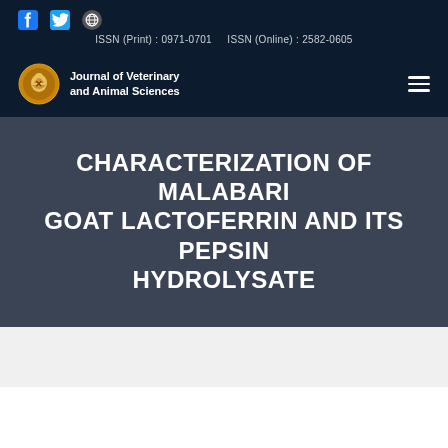ISSN (Print) : 0971-0701   ISSN (Online) : 2582-0605
[Figure (logo): Journal of Veterinary and Animal Sciences logo — circular emblem with an animal crest, gold/orange on dark background]
CHARACTERIZATION OF MALABARI GOAT LACTOFERRIN AND ITS PEPSIN HYDROLYSATE